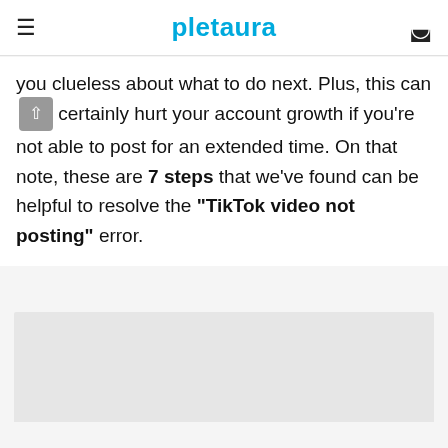pletaura
you clueless about what to do next. Plus, this can certainly hurt your account growth if you're not able to post for an extended time. On that note, these are 7 steps that we've found can be helpful to resolve the “TikTok video not posting” error.
[Figure (other): Gray advertisement block placeholder]